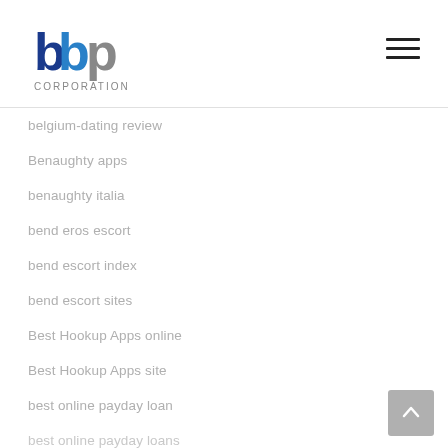[Figure (logo): BBP Corporation logo with blue and gray letters and CORPORATION text below]
belgium-dating review
Benaughty apps
benaughty italia
bend eros escort
bend escort index
bend escort sites
Best Hookup Apps online
Best Hookup Apps site
best online payday loan
best online payday loans